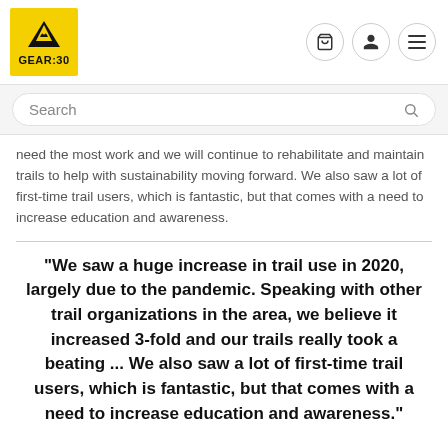[Figure (logo): GEAR:30 logo - yellow square with mountain/flame icon and text GEAR:30]
Search
need the most work and we will continue to rehabilitate and maintain trails to help with sustainability moving forward. We also saw a lot of first-time trail users, which is fantastic, but that comes with a need to increase education and awareness.
"We saw a huge increase in trail use in 2020, largely due to the pandemic. Speaking with other trail organizations in the area, we believe it increased 3-fold and our trails really took a beating ... We also saw a lot of first-time trail users, which is fantastic, but that comes with a need to increase education and awareness."